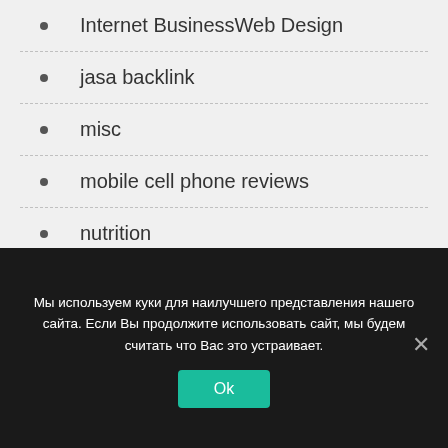Internet BusinessWeb Design
jasa backlink
misc
mobile cell phone reviews
nutrition
other
PoliticsCurrent Events
Recreation & SportsMartial Arts
recreation and sports
Мы используем куки для наилучшего представления нашего сайта. Если Вы продолжите использовать сайт, мы будем считать что Вас это устраивает.